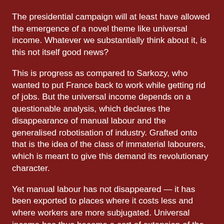The presidential campaign will at least have allowed the emergence of a novel theme like universal income. Whatever we substantially think about it, is this not itself good news?
This is progress as compared to Sarkozy, who wanted to put France back to work while getting rid of jobs. But the universal income depends on a questionable analysis, which declares the disappearance of manual labour and the generalised robotisation of industry. Grafted onto that is the idea of the class of immaterial labourers, which is meant to give this demand its revolutionary character.
Yet manual labour has not disappeared — it has been exported to places where it costs less and where workers are more subjugated. Universal income has thus become a sort of extension of the RMI and RSA [benefits for the unemployed and low-waged in France, but set at only a few hundred euros a month and with multiple conditions], designed to make up for the deindustrialisation taking place in our countries.